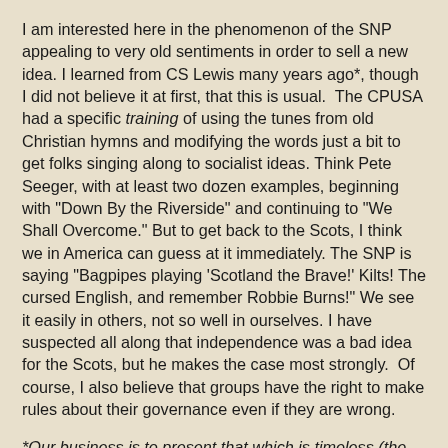I am interested here in the phenomenon of the SNP appealing to very old sentiments in order to sell a new idea. I learned from CS Lewis many years ago*, though I did not believe it at first, that this is usual.  The CPUSA had a specific training of using the tunes from old Christian hymns and modifying the words just a bit to get folks singing along to socialist ideas. Think Pete Seeger, with at least two dozen examples, beginning with "Down By the Riverside" and continuing to "We Shall Overcome." But to get back to the Scots, I think we in America can guess at it immediately. The SNP is saying "Bagpipes playing 'Scotland the Brave!' Kilts! The cursed English, and remember Robbie Burns!" We see it easily in others, not so well in ourselves. I have suspected all along that independence was a bad idea for the Scots, but he makes the case most strongly.  Of course, I also believe that groups have the right to make rules about their governance even if they are wrong.
*Our business is to present that which is timeless (the same yesterday, today, and tomorrow) in the particular language of our own age. The bad preacher does exactly the opposite: he may think about the Beveridge Report and talk about the